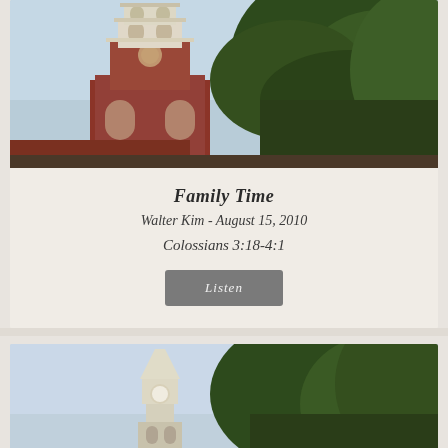[Figure (photo): Photograph of a red-brick church steeple/tower with white architectural details, surrounded by green trees against a blue sky]
Family Time
Walter Kim - August 15, 2010
Colossians 3:18-4:1
Listen
[Figure (photo): Second photograph of a church steeple with a pointed spire and trees against a blue sky, partially visible]